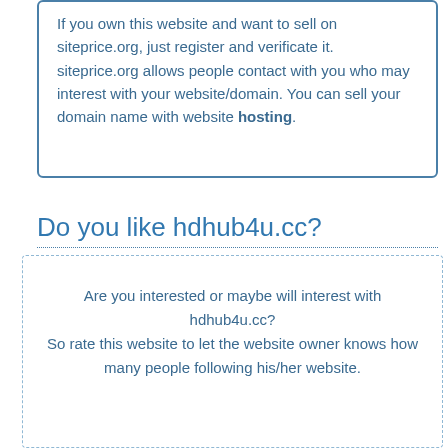If you own this website and want to sell on siteprice.org, just register and verificate it. siteprice.org allows people contact with you who may interest with your website/domain. You can sell your domain name with website hosting.
Do you like hdhub4u.cc?
Are you interested or maybe will interest with hdhub4u.cc? So rate this website to let the website owner knows how many people following his/her website.